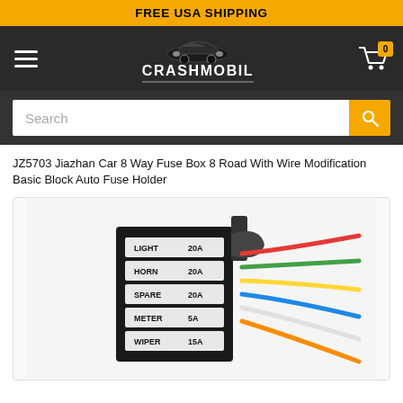FREE USA SHIPPING
[Figure (logo): Crashmobil website header with hamburger menu, car logo, CRASHMOBIL text, and cart icon showing 0 items]
[Figure (screenshot): Search bar with placeholder text 'Search' and yellow search button]
JZ5703 Jiazhan Car 8 Way Fuse Box 8 Road With Wire Modification Basic Block Auto Fuse Holder
[Figure (photo): Photo of a black car fuse box with labeled slots: LIGHT 20A, HORN 20A, SPARE 20A, METER 5A, and more, with colorful wires on the right side]